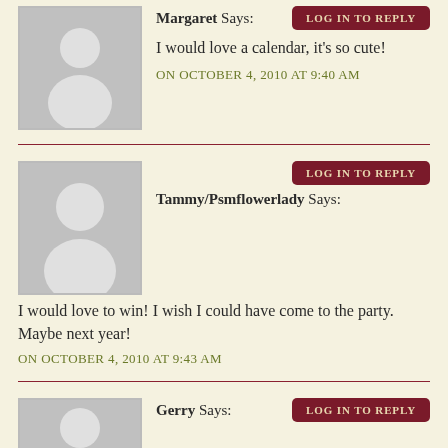[Figure (illustration): Gray placeholder avatar silhouette image for user Margaret]
Margaret Says:
LOG IN TO REPLY
I would love a calendar, it's so cute!
ON OCTOBER 4, 2010 AT 9:40 AM
[Figure (illustration): Gray placeholder avatar silhouette image for user Tammy/Psmflowerlady]
LOG IN TO REPLY
Tammy/Psmflowerlady Says:
I would love to win! I wish I could have come to the party. Maybe next year!
ON OCTOBER 4, 2010 AT 9:43 AM
[Figure (illustration): Gray placeholder avatar silhouette image for user Gerry]
Gerry Says:
LOG IN TO REPLY